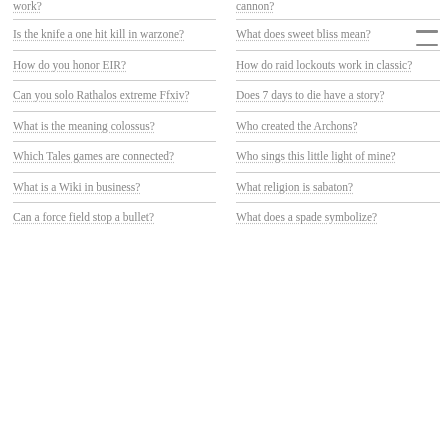work?
Is the knife a one hit kill in warzone?
How do you honor EIR?
Can you solo Rathalos extreme Ffxiv?
What is the meaning colossus?
Which Tales games are connected?
What is a Wiki in business?
Can a force field stop a bullet?
cannon?
What does sweet bliss mean?
How do raid lockouts work in classic?
Does 7 days to die have a story?
Who created the Archons?
Who sings this little light of mine?
What religion is sabaton?
What does a spade symbolize?